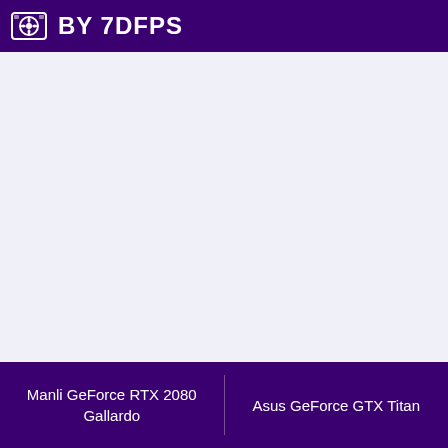BY 7DFPS
Manli GeForce RTX 2080 Gallardo | Asus GeForce GTX Titan